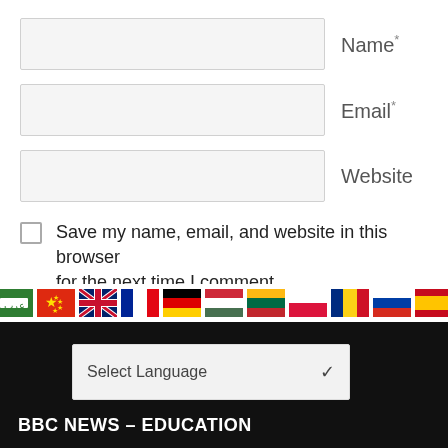Name *
Email *
Website
Save my name, email, and website in this browser for the next time I comment.
Notify me of new posts by email.
Post Comment
[Figure (infographic): Row of country flag icons: Arabic, Chinese, UK, French, German, Hungarian, Lithuanian, Polish, Romanian, Russian, Spanish]
Select Language
BBC NEWS – EDUCATION